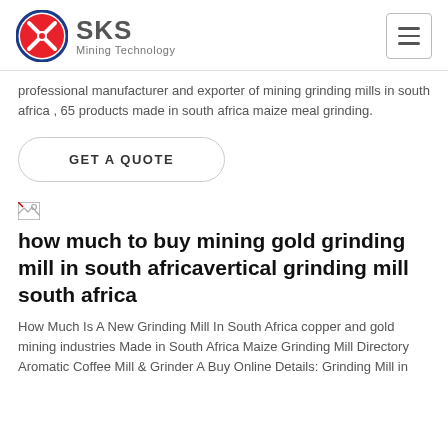SKS Mining Technology
professional manufacturer and exporter of mining grinding mills in south africa , 65 products made in south africa maize meal grinding.
GET A QUOTE
[Figure (illustration): Small broken image icon]
how much to buy mining gold grinding mill in south africavertical grinding mill south africa
How Much Is A New Grinding Mill In South Africa copper and gold mining industries Made in South Africa Maize Grinding Mill Directory Aromatic Coffee Mill & Grinder A Buy Online Details: Grinding Mill in